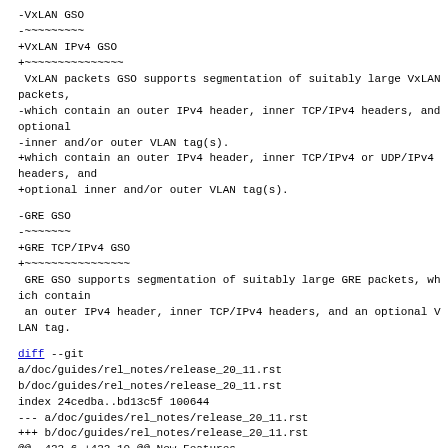-VxLAN GSO
-~~~~~~~~~
+VxLAN IPv4 GSO
+~~~~~~~~~~~~~~~
 VxLAN packets GSO supports segmentation of suitably large VxLAN packets,
-which contain an outer IPv4 header, inner TCP/IPv4 headers, and optional
-inner and/or outer VLAN tag(s).
+which contain an outer IPv4 header, inner TCP/IPv4 or UDP/IPv4 headers, and
+optional inner and/or outer VLAN tag(s).
-GRE GSO
-~~~~~~~
+GRE TCP/IPv4 GSO
+~~~~~~~~~~~~~~~~
 GRE GSO supports segmentation of suitably large GRE packets, which contain
 an outer IPv4 header, inner TCP/IPv4 headers, and an optional VLAN tag.
diff --git a/doc/guides/rel_notes/release_20_11.rst b/doc/guides/rel_notes/release_20_11.rst
index 24cedba..bd13c5f 100644
--- a/doc/guides/rel_notes/release_20_11.rst
+++ b/doc/guides/rel_notes/release_20_11.rst
@@ -422,6 +422,10 @@ New Features